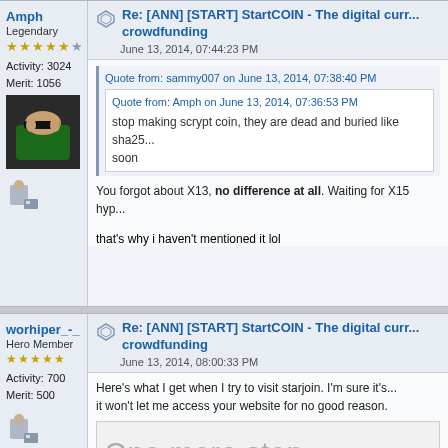Amph
Legendary
Activity: 3024
Merit: 1056
[Figure (photo): User avatar showing a person doing exercise]
Re: [ANN] [START] StartCOIN - The digital curr... crowdfunding
June 13, 2014, 07:44:23 PM
Quote from: sammy007 on June 13, 2014, 07:38:40 PM
Quote from: Amph on June 13, 2014, 07:36:53 PM
stop making scrypt coin, they are dead and buried like sha25... soon
You forgot about X13, no difference at all. Waiting for X15 hyp...
that's why i haven't mentioned it lol
worhiper_-_
Hero Member
Activity: 700
Merit: 500
Re: [ANN] [START] StartCOIN - The digital curr... crowdfunding
June 13, 2014, 08:00:33 PM
Here's what I get when I try to visit starjoin. I'm sure it's... it won't let me access your website for no good reason.
[Figure (screenshot): Cloudflare captcha page showing 'One more step' with text 'Please complete the security check to access www.startjoi...']